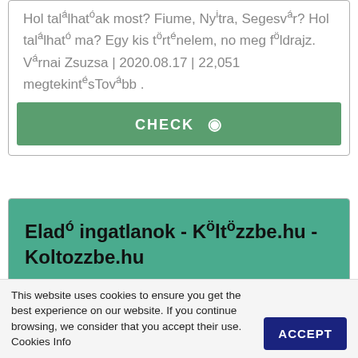Hol találhatóak most? Fiume, Nyitra, Segesvár? Hol található ma? Egy kis történelem, no meg földrajz. Várnai Zsuzsa | 2020.08.17 | 22,051 megtekintésTovább .
CHECK 👁
Eladó ingatlanok - Költözzbe.hu - Koltozzbe.hu
Az egész országban eladó ingatlanok. Ingatlanok, átlagár alatt, lakások, házak, telkek - Költözzbe.hu.
This website uses cookies to ensure you get the best experience on our website. If you continue browsing, we consider that you accept their use. Cookies Info
ACCEPT